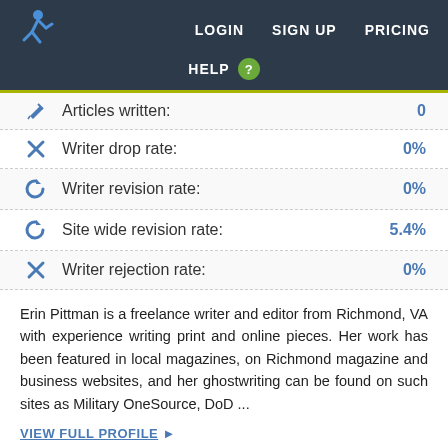LOGIN  SIGN UP  PRICING  HELP
Articles written: 0
Writer drop rate: 0%
Writer revision rate: 0%
Site wide revision rate: 5.4%
Writer rejection rate: 0%
Erin Pittman is a freelance writer and editor from Richmond, VA with experience writing print and online pieces. Her work has been featured in local magazines, on Richmond magazine and business websites, and her ghostwriting can be found on such sites as Military OneSource, DoD ...
VIEW FULL PROFILE ▶